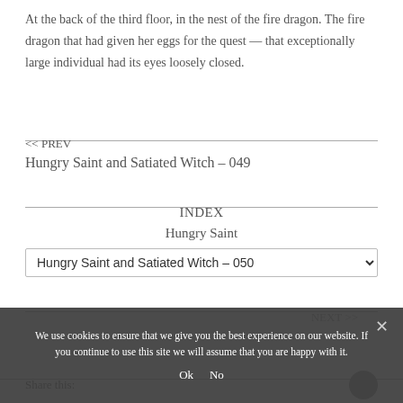At the back of the third floor, in the nest of the fire dragon. The fire dragon that had given her eggs for the quest — that exceptionally large individual had its eyes loosely closed.
<< PREV
Hungry Saint and Satiated Witch – 049
INDEX
Hungry Saint
Hungry Saint and Satiated Witch – 050
NEXT >>
We use cookies to ensure that we give you the best experience on our website. If you continue to use this site we will assume that you are happy with it.
Ok  No
Share this: